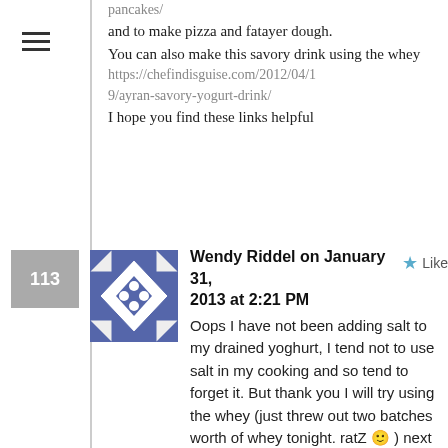pancakes/
and to make pizza and fatayer dough.
You can also make this savory drink using the whey
https://chefindisguise.com/2012/04/19/ayran-savory-yogurt-drink/
I hope you find these links helpful
[Figure (other): Comment number badge showing 113]
[Figure (illustration): User avatar - decorative geometric pattern in blue/white/grey]
Wendy Riddel on January 31, 2013 at 2:21 PM
Oops I have not been adding salt to my drained yoghurt, I tend not to use salt in my cooking and so tend to forget it. But thank you I will try using the whey (just threw out two batches worth of whey tonight. ratZ 🙂 ) next time I do scones